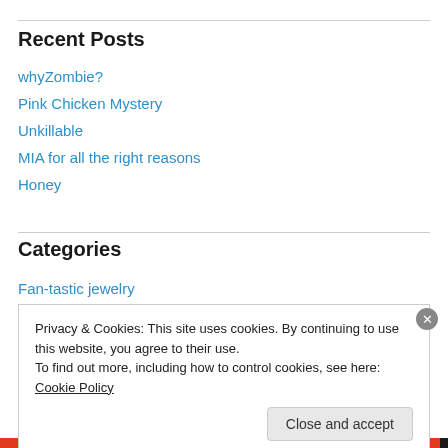Recent Posts
whyZombie?
Pink Chicken Mystery
Unkillable
MIA for all the right reasons
Honey
Categories
Fan-tastic jewelry
Privacy & Cookies: This site uses cookies. By continuing to use this website, you agree to their use.
To find out more, including how to control cookies, see here: Cookie Policy
Close and accept